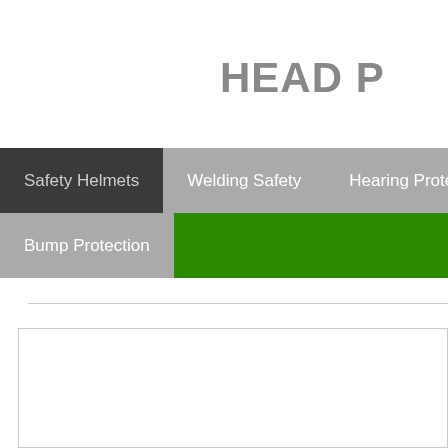HEAD P
Safety Helmets
Welding Safety
Hearing Protection
Bump Protection